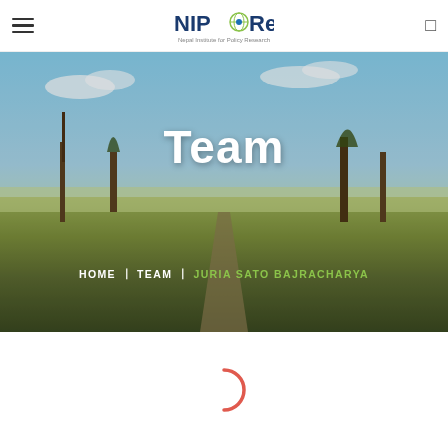NIPeRe - Nepal Institute for Policy Research
[Figure (photo): Background landscape photo showing a dirt path through grasslands with trees and a blue sky, serving as hero banner for the Team page]
Team
HOME | TEAM | JURIA SATO BAJRACHARYA
[Figure (other): Loading spinner (partial red circular arc)]